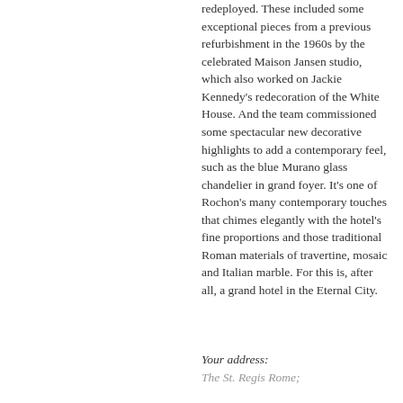redeployed. These included some exceptional pieces from a previous refurbishment in the 1960s by the celebrated Maison Jansen studio, which also worked on Jackie Kennedy's redecoration of the White House. And the team commissioned some spectacular new decorative highlights to add a contemporary feel, such as the blue Murano glass chandelier in grand foyer. It's one of Rochon's many contemporary touches that chimes elegantly with the hotel's fine proportions and those traditional Roman materials of travertine, mosaic and Italian marble. For this is, after all, a grand hotel in the Eternal City.
Your address:
The St. Regis Rome;